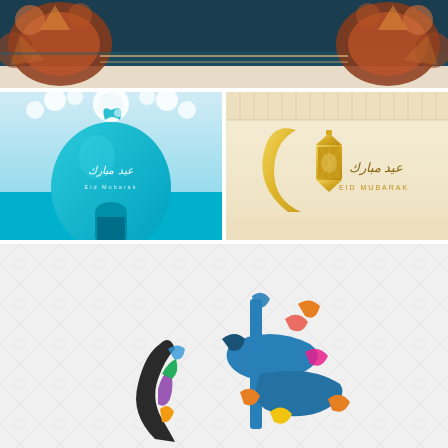[Figure (illustration): Eid Mubarak decorative banner with dark teal/blue background, ornate Islamic geometric border patterns and floral decorations on left and right sides, horizontal banner layout]
[Figure (illustration): Eid Mubarak greeting card with teal mosque dome silhouette, white paper-cut floral decorations, Arabic calligraphy 'Eid Mubarak' in white, 'Eid Mubarak' in Latin text, gradient teal/turquoise background]
[Figure (illustration): Eid Mubarak greeting card with golden crescent moon and ornate gold lantern, Arabic calligraphy, 'EID MUBARAK' text in gold/brown, cream background with geometric Islamic pattern border]
[Figure (illustration): Eid Mubarak colorful Arabic calligraphy art on light gray background with subtle Islamic geometric pattern, featuring blue, orange, purple, yellow, and dark colored Arabic script forming decorative shapes]